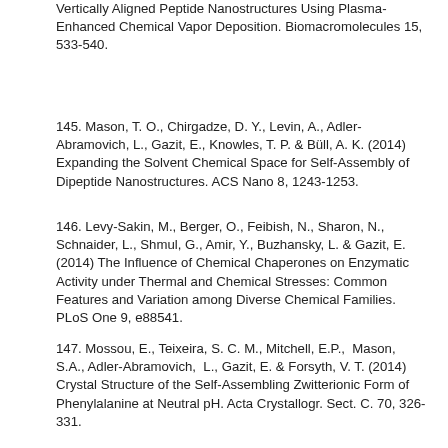Vertically Aligned Peptide Nanostructures Using Plasma-Enhanced Chemical Vapor Deposition. Biomacromolecules 15, 533-540.
145. Mason, T. O., Chirgadze, D. Y., Levin, A., Adler-Abramovich, L., Gazit, E., Knowles, T. P. & Büll, A. K. (2014) Expanding the Solvent Chemical Space for Self-Assembly of Dipeptide Nanostructures. ACS Nano 8, 1243-1253.
146. Levy-Sakin, M., Berger, O., Feibish, N., Sharon, N., Schnaider, L., Shmul, G., Amir, Y., Buzhansky, L. & Gazit, E. (2014) The Influence of Chemical Chaperones on Enzymatic Activity under Thermal and Chemical Stresses: Common Features and Variation among Diverse Chemical Families. PLoS One 9, e88541.
147. Mossou, E., Teixeira, S. C. M., Mitchell, E.P.,  Mason,  S.A., Adler-Abramovich,  L., Gazit, E. & Forsyth, V. T. (2014) Crystal Structure of the Self-Assembling Zwitterionic Form of Phenylalanine at Neutral pH. Acta Crystallogr. Sect. C. 70, 326-331.
148. Bram, Y., Frydman-Marom, A., Yanai, I., Gilead, S., Shaltiel-Karyo, R., Amdursky, A. & Gazit, E. (2014) Apoptosis Induced by Islet Amyloid Polypeptide Soluble Oligomers is Neutralized by Diabetes-Associated Specific Antibodies. Sci.